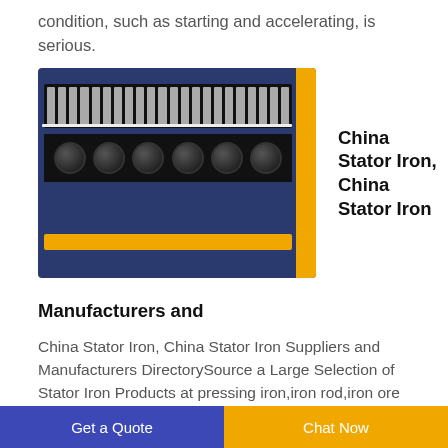condition, such as starting and accelerating, is serious.
[Figure (photo): Photo of a China Stator Iron machine component showing blue metal casing with fins, cylindrical parts, and yellow highlights]
China Stator Iron, China Stator Iron
Manufacturers and
China Stator Iron, China Stator Iron Suppliers and Manufacturers DirectorySource a Large Selection of Stator Iron Products at pressing iron,iron rod,iron ore
Get a Quote  Chat Now